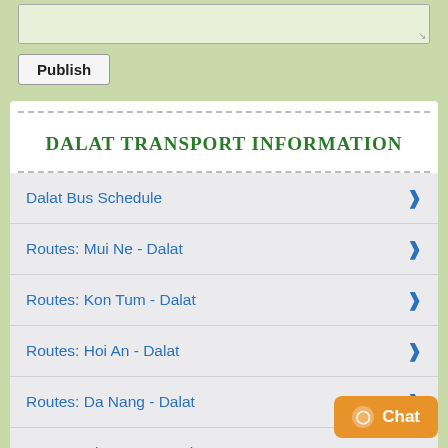[Figure (screenshot): Text area input box (light green background)]
Publish
DALAT TRANSPORT INFORMATION
Dalat Bus Schedule
Routes: Mui Ne - Dalat
Routes: Kon Tum - Dalat
Routes: Hoi An - Dalat
Routes: Da Nang - Dalat
Routes: Nha Trang - Dalat
Routes: Ho Chi Minh - Dalat